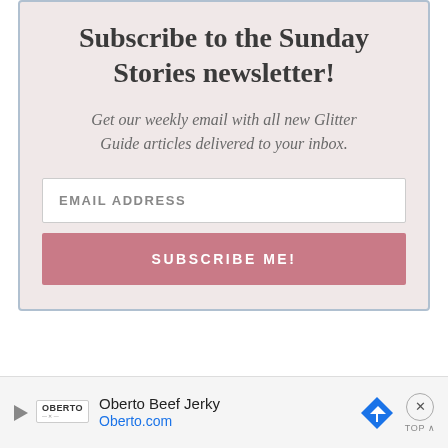Subscribe to the Sunday Stories newsletter!
Get our weekly email with all new Glitter Guide articles delivered to your inbox.
[Figure (screenshot): Email address input field with placeholder text 'EMAIL ADDRESS' and a pink 'SUBSCRIBE ME!' button below it]
[Figure (infographic): Advertisement bar for Oberto Beef Jerky with logo, navigation icon, close button and TOP label]